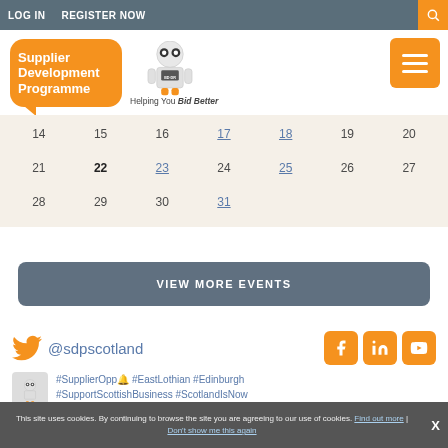LOG IN   REGISTER NOW
[Figure (logo): Supplier Development Programme logo with robot mascot and text 'Helping You Bid Better']
| 14 | 15 | 16 | 17 | 18 | 19 | 20 |
| 21 | 22 | 23 | 24 | 25 | 26 | 27 |
| 28 | 29 | 30 | 31 |  |  |  |
VIEW MORE EVENTS
@sdpscotland
#SupplierOpp🔔 #EastLothian #Edinburgh #SupportScottishBusiness #ScotlandIsNow
This site uses cookies. By continuing to browse the site you are agreeing to our use of cookies. Find out more | Don't show me this again  X